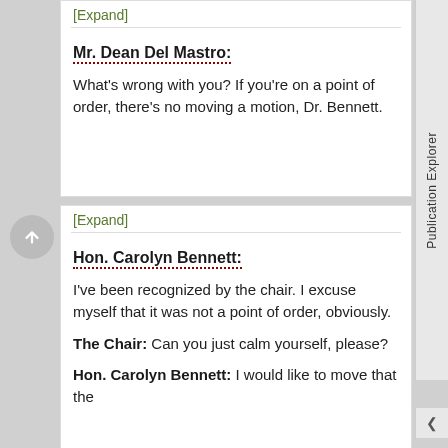[Expand]
Mr. Dean Del Mastro:
What's wrong with you? If you're on a point of order, there's no moving a motion, Dr. Bennett.
[Expand]
Hon. Carolyn Bennett:
I've been recognized by the chair. I excuse myself that it was not a point of order, obviously.
The Chair: Can you just calm yourself, please?
Hon. Carolyn Bennett: I would like to move that the